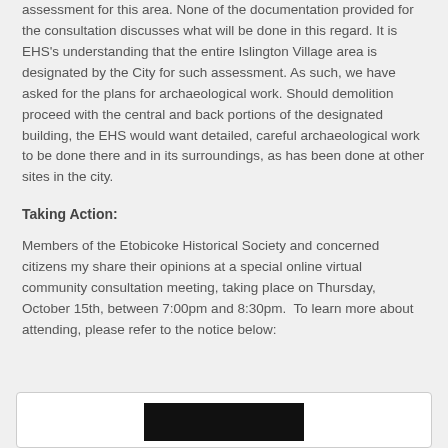assessment for this area. None of the documentation provided for the consultation discusses what will be done in this regard. It is EHS's understanding that the entire Islington Village area is designated by the City for such assessment. As such, we have asked for the plans for archaeological work. Should demolition proceed with the central and back portions of the designated building, the EHS would want detailed, careful archaeological work to be done there and in its surroundings, as has been done at other sites in the city.
Taking Action:
Members of the Etobicoke Historical Society and concerned citizens my share their opinions at a special online virtual community consultation meeting, taking place on Thursday, October 15th, between 7:00pm and 8:30pm.  To learn more about attending, please refer to the notice below:
[Figure (other): A framed box at the bottom of the page containing a dark/black image, likely a notice or flyer image.]